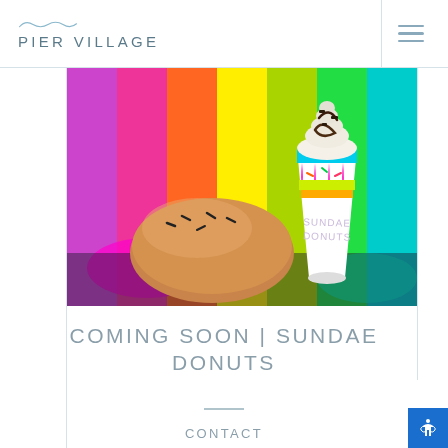PIER VILLAGE
[Figure (photo): Photo of a donut with sprinkles and a colorful cup branded 'Sundae Donuts' with whipped cream on top, set against a vibrant rainbow-colored background with neon graphic elements.]
COMING SOON | SUNDAE DONUTS
CONTACT